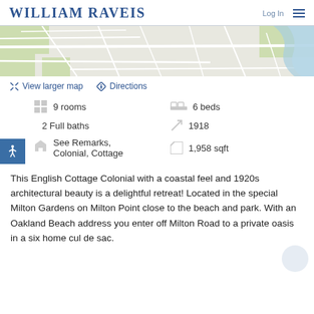WILLIAM RAVEIS
[Figure (map): Street map showing local area near listing]
View larger map   Directions
9 rooms
6 beds
2 Full baths
1918
See Remarks, Colonial, Cottage
1,958 sqft
This English Cottage Colonial with a coastal feel and 1920s architectural beauty is a delightful retreat! Located in the special Milton Gardens on Milton Point close to the beach and park. With an Oakland Beach address you enter off Milton Road to a private oasis in a six home cul de sac.